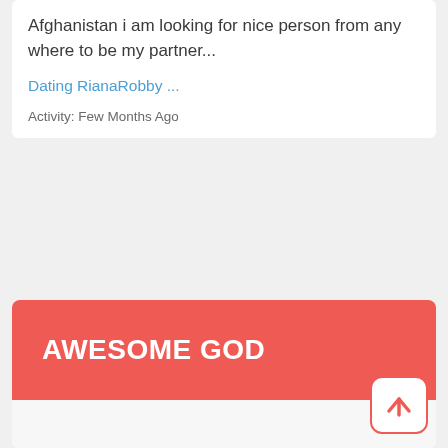Afghanistan i am looking for nice person from any where to be my partner...
Dating RianaRobby ...
Activity: Few Months Ago
AWESOME GOD
[Figure (other): Scroll-to-top button icon with upward arrow in red on white rounded square]